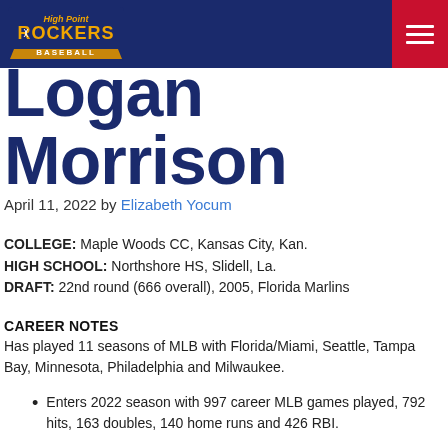[Figure (logo): High Point Rockers Baseball logo with hamburger menu icon on dark navy and red header bar]
Logan Morrison
April 11, 2022 by Elizabeth Yocum
COLLEGE: Maple Woods CC, Kansas City, Kan.
HIGH SCHOOL: Northshore HS, Slidell, La.
DRAFT: 22nd round (666 overall), 2005, Florida Marlins
CAREER NOTES
Has played 11 seasons of MLB with Florida/Miami, Seattle, Tampa Bay, Minnesota, Philadelphia and Milwaukee.
Enters 2022 season with 997 career MLB games played, 792 hits, 163 doubles, 140 home runs and 426 RBI.